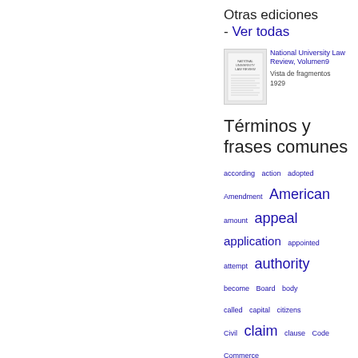Otras ediciones - Ver todas
[Figure (photo): Thumbnail cover of National University Law Review book]
National University Law Review, Volumen9
Vista de fragmentos
1929
Términos y frases comunes
according  action  adopted  Amendment  American  amount  appeal  application  appointed  attempt  authority  become  Board  body  called  capital  citizens  Civil  claim  clause  Code  Commerce